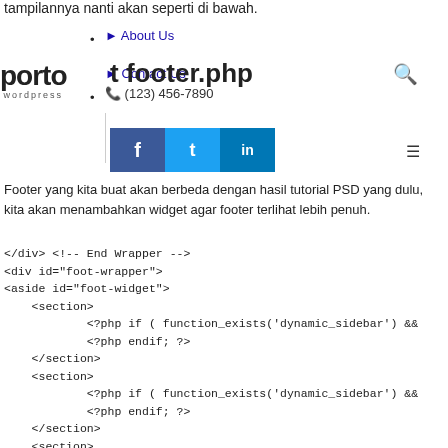tampilannya nanti akan seperti di bawah.
[Figure (screenshot): Website mockup showing Porto WordPress theme with navigation menu items (About Us, Contact Us, phone number), Porto logo, footer.php heading, and social share buttons (Facebook, Twitter, LinkedIn) overlaid on the page]
Footer yang kita buat akan berbeda dengan hasil tutorial PSD yang dulu, kita akan menambahkan widget agar footer terlihat lebih penuh.
</div> <!-- End Wrapper -->
<div id="foot-wrapper">
<aside id="foot-widget">
    <section>
            <?php if ( function_exists('dynamic_sidebar') &&
            <?php endif; ?>
    </section>
    <section>
            <?php if ( function_exists('dynamic_sidebar') &&
            <?php endif; ?>
    </section>
    <section>
            <?php if ( function_exists('dynamic_sidebar') &&
            <?php endif; ?>
    </section>
    <section>
            <?php if ( function_exists('dynamic_sidebar') &&
            <?php endif; ?>
    </section>
    </section>